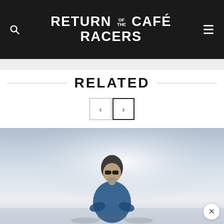RETURN OF THE CAFÉ RACERS
RELATED
[Figure (photo): A man wearing a beanie hat and sunglasses, dressed in a blue jacket, photographed against a bright sky background, likely on a motorcycle (partially visible at the bottom of the image). The image has a high-key, washed-out bright background.]